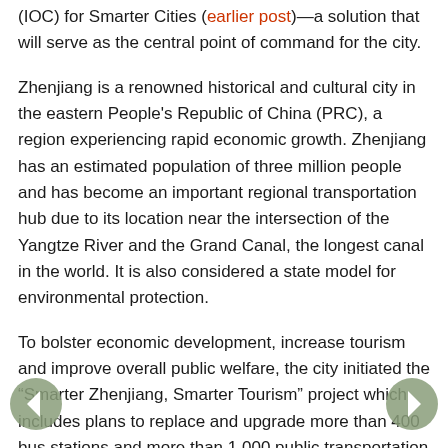(IOC) for Smarter Cities (earlier post)—a solution that will serve as the central point of command for the city.
Zhenjiang is a renowned historical and cultural city in the eastern People's Republic of China (PRC), a region experiencing rapid economic growth. Zhenjiang has an estimated population of three million people and has become an important regional transportation hub due to its location near the intersection of the Yangtze River and the Grand Canal, the longest canal in the world. It is also considered a state model for environmental protection.
To bolster economic development, increase tourism and improve overall public welfare, the city initiated the "Smarter Zhenjiang, Smarter Tourism" project which includes plans to replace and upgrade more than 400 bus stations and more than 1,000 public transportation vehicles. In conjunction with the system-wide upgrade, Zhenjiang will rely on IBM's Intelligent Transportation solution to provide city managers with a consolidated view of the transportation network, and initiate a new bus